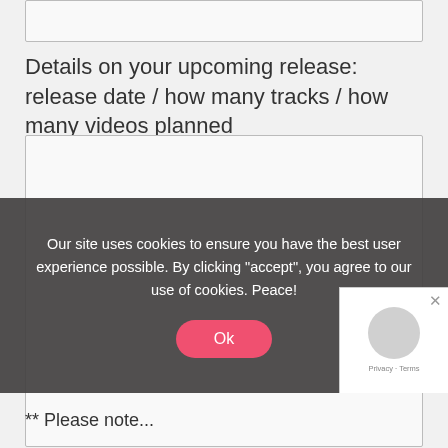Details on your upcoming release: release date / how many tracks / how many videos planned
[Figure (screenshot): Empty textarea input box for form field about upcoming release details]
Our site uses cookies to ensure you have the best user experience possible. By clicking "accept", you agree to our use of cookies. Peace!
Ok
** Please note...